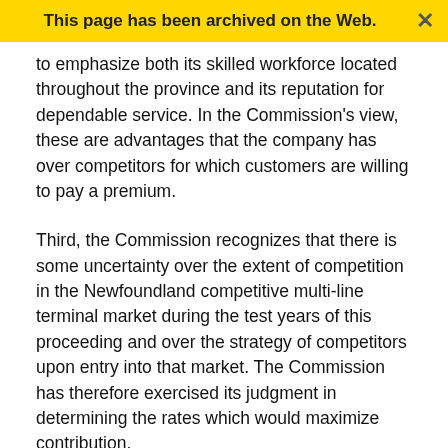This page has been archived on the Web.
to emphasize both its skilled workforce located throughout the province and its reputation for dependable service. In the Commission's view, these are advantages that the company has over competitors for which customers are willing to pay a premium.
Third, the Commission recognizes that there is some uncertainty over the extent of competition in the Newfoundland competitive multi-line terminal market during the test years of this proceeding and over the strategy of competitors upon entry into that market. The Commission has therefore exercised its judgment in determining the rates which would maximize contribution.
The Commission considers that, in order to maximize contribution, the rates proposed for General Tariff Items 230 (except the proposed Direct-In-Dial rates set out at page 12N of revised Part A of the company's application,